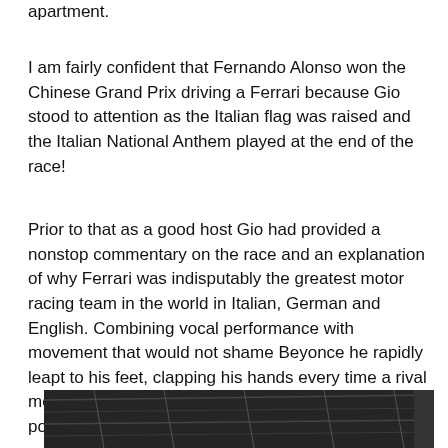apartment.
I am fairly confident that Fernando Alonso won the Chinese Grand Prix driving a Ferrari because Gio stood to attention as the Italian flag was raised and the Italian National Anthem played at the end of the race!
Prior to that as a good host Gio had provided a nonstop commentary on the race and an explanation of why Ferrari was indisputably the greatest motor racing team in the world in Italian, German and English. Combining vocal performance with movement that would not shame Beyonce he rapidly leapt to his feet, clapping his hands every time a rival met with misfortune or Ferrari strengthened their position.
[Figure (photo): Black and white photograph showing a ceiling or roof structure with visible beams/rafters from below, dark industrial or warehouse interior.]